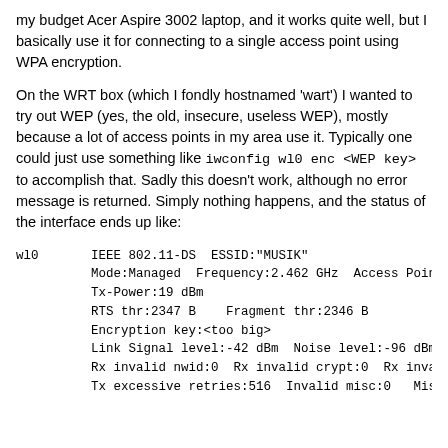my budget Acer Aspire 3002 laptop, and it works quite well, but I basically use it for connecting to a single access point using WPA encryption.
On the WRT box (which I fondly hostnamed 'wart') I wanted to try out WEP (yes, the old, insecure, useless WEP), mostly because a lot of access points in my area use it. Typically one could just use something like iwconfig wl0 enc <WEP key> to accomplish that. Sadly this doesn't work, although no error message is returned. Simply nothing happens, and the status of the interface ends up like:
wl0       IEEE 802.11-DS  ESSID:"MUSIK"
          Mode:Managed  Frequency:2.462 GHz  Access Point
          Tx-Power:19 dBm
          RTS thr:2347 B    Fragment thr:2346 B
          Encryption key:<too big>
          Link Signal level:-42 dBm  Noise level:-96 dBm
          Rx invalid nwid:0  Rx invalid crypt:0  Rx inval
          Tx excessive retries:516  Invalid misc:0   Miss